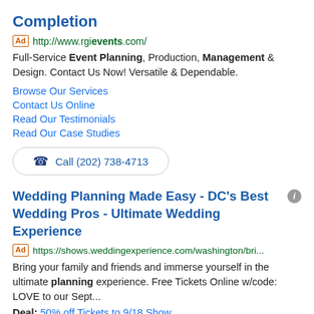Completion
Ad http://www.rgievents.com/
Full-Service Event Planning, Production, Management & Design. Contact Us Now! Versatile & Dependable.
Browse Our Services
Contact Us Online
Read Our Testimonials
Read Our Case Studies
Call (202) 738-4713
Wedding Planning Made Easy - DC's Best Wedding Pros - Ultimate Wedding Experience
Ad https://shows.weddingexperience.com/washington/bri...
Bring your family and friends and immerse yourself in the ultimate planning experience. Free Tickets Online w/code: LOVE to our Sept...
Deal: 50% off Tickets to 9/18 Show
Code LOVE · Ends Sep 16
Wedding Deals
Exhibitor Opportunities